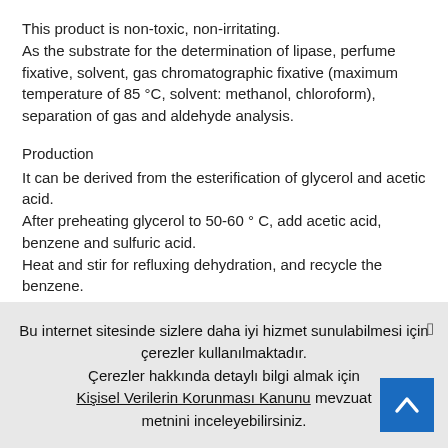This product is non-toxic, non-irritating. As the substrate for the determination of lipase, perfume fixative, solvent, gas chromatographic fixative (maximum temperature of 85 °C, solvent: methanol, chloroform), separation of gas and aldehyde analysis.
Production
It can be derived from the esterification of glycerol and acetic acid. After preheating glycerol to 50-60 ° C, add acetic acid, benzene and sulfuric acid. Heat and stir for refluxing dehydration, and recycle the benzene. Then add acetic anhydride for heating of 4h. After cooling, the mixture was neutralized with 5% sodium carbonate to pH 7, and the crude layer was dried and the crude oil was dried with calcium chloride.
Bu internet sitesinde sizlere daha iyi hizmet sunulabilmesi için çerezler kullanılmaktadır. Çerezler hakkında detaylı bilgi almak için Kişisel Verilerin Korunması Kanunu mevzuat metnini inceleyebilirsiniz.